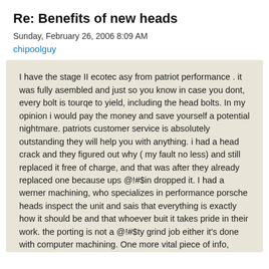Re: Benefits of new heads
Sunday, February 26, 2006 8:09 AM
chipoolguy
I have the stage II ecotec asy from patriot performance . it was fully asembled and just so you know in case you dont, every bolt is tourqe to yield, including the head bolts. In my opinion i would pay the money and save yourself a potential nightmare. patriots customer service is absolutely outstanding they will help you with anything. i had a head crack and they figured out why ( my fault no less) and still replaced it free of charge, and that was after they already replaced one because ups @!#$in dropped it. I had a werner machining, who specializes in performance porsche heads inspect the unit and sais that everything is exactly how it should be and that whoever buit it takes pride in their work. the porting is not a @!#$ty grind job either it's done with computer machining. One more vital piece of info, when you install the spark plugs do not exceed 10 ft lbs or you will crack the waterjacket the heads are very thin for the ecotec, and use head bolts not studs unless you absolutely have to. I busted arp studs of in ecotec blocks and